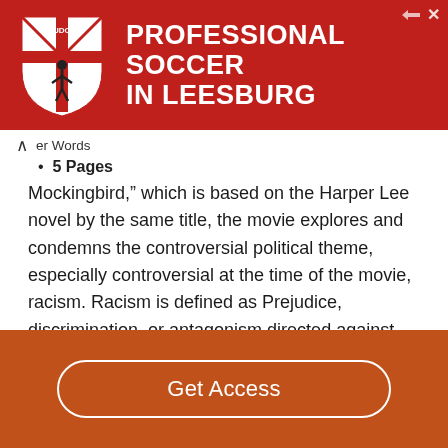[Figure (illustration): Red advertisement banner for Loudoun Soccer featuring a shield logo and white bold text reading 'PROFESSIONAL SOCCER IN LEESBURG']
er Words
5 Pages
Mockingbird,” which is based on the Harper Lee novel by the same title, the movie explores and condemns the controversial political theme, especially controversial at the time of the movie, racism. Racism is defined as Prejudice, discrimination, or antagonism directed against someone of a different race based on the belief that one’s own race is superior, according to the Oxford Dictionary. Even though racism is the political focus of the movie, it also touches on class inequality, which is the division of…
Get Access